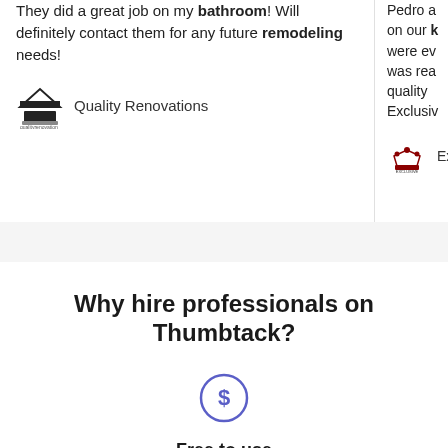They did a great job on my bathroom! Will definitely contact them for any future remodeling needs!
Quality Renovations
Pedro a... on our b... were ev... was rea... quality... Exclusiv...
Ex...
Why hire professionals on Thumbtack?
Free to use